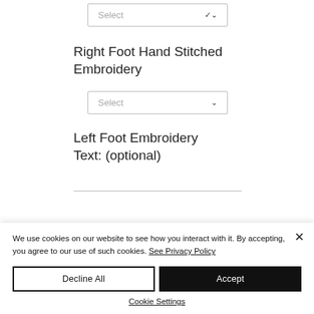Select
Right Foot Hand Stitched Embroidery
Select
Left Foot Embroidery Text: (optional)
We use cookies on our website to see how you interact with it. By accepting, you agree to our use of such cookies. See Privacy Policy
Decline All
Accept
Cookie Settings